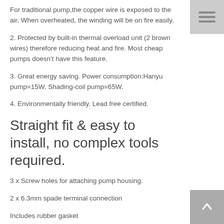For traditional pump,the copper wire is exposed to the air. When overheated, the winding will be on fire easily.
2. Protected by built-in thermal overload unit (2 brown wires) therefore reducing heat and fire. Most cheap pumps doesn't have this feature.
3. Great energy saving. Power consumption:Hanyu pump=15W, Shading-coil pump=65W.
4. Environmentally friendly. Lead free certified.
Straight fit & easy to install, no complex tools required.
3 x Screw holes for attaching pump housing.
2 x 6.3mm spade terminal connection
Includes rubber gasket